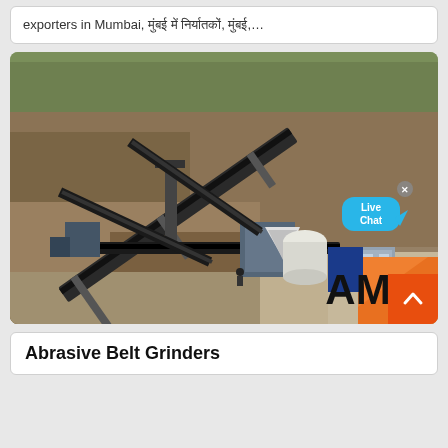exporters in Mumbai, मुंबई में निर्यातकों, मुंबई,...
[Figure (photo): Aerial view of an industrial mining/stone crushing plant with conveyor belts, processing equipment, machinery, and an 'AM' company logo overlay in the bottom right corner. A 'Live Chat' bubble is visible in the upper right area of the image.]
Abrasive Belt Grinders